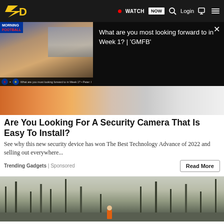NFL Network navigation bar with logo, WATCH NOW button, Login, cart, and menu icons
[Figure (screenshot): Video player overlay showing Morning Football show thumbnail with a person seated at desk, city skyline background. Bottom ticker shows Bills vs Rams matchup. Right side shows video title text on black background with close button.]
What are you most looking forward to in Week 1? | 'GMFB'
[Figure (photo): Close-up photo of hands near orange object and keyboard keys, serving as thumbnail for security camera article]
Are You Looking For A Security Camera That Is Easy To Install?
See why this new security device has won The Best Technology Advance of 2022 and selling out everywhere...
Trending Gadgets | Sponsored
[Figure (photo): Outdoor photo showing bare trees against grey sky with orange-vested person visible at bottom center]